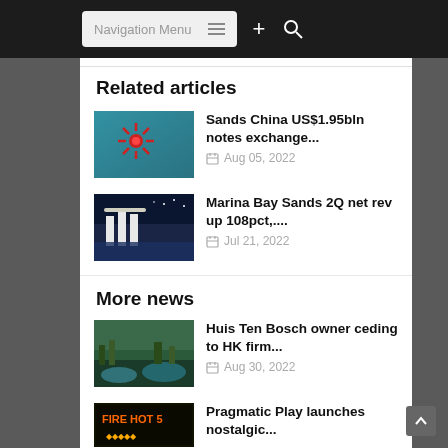Navigation Menu
Related articles
Sands China US$1.95bln notes exchange... Aug 05, 2022
Marina Bay Sands 2Q net rev up 108pct,.... Jul 21, 2022
More news
Huis Ten Bosch owner ceding to HK firm... Aug 30, 2022
Pragmatic Play launches nostalgic...